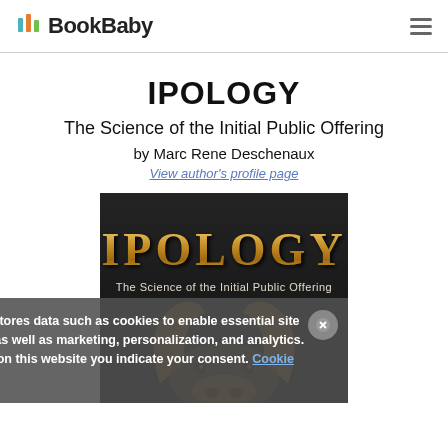BookBaby
IPOLOGY
The Science of the Initial Public Offering
by Marc Rene Deschenaux
View author's profile page
[Figure (photo): Book cover of IPOLOGY: The Science of the Initial Public Offering by Marc Rene Deschenaux, showing gold metallic title text over a dark background with a bull's horns visible.]
This website stores data such as cookies to enable essential site functionality, as well as marketing, personalization, and analytics. By remaining on this website you indicate your consent. Cookie Policy